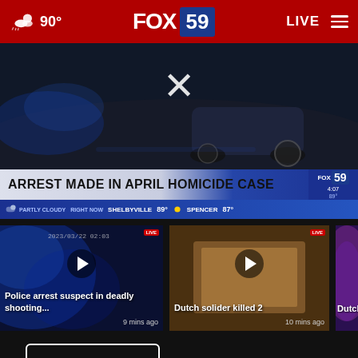90° FOX 59 LIVE
[Figure (screenshot): FOX 59 news broadcast screenshot showing car on dark road with X close button overlay]
ARREST MADE IN APRIL HOMICIDE CASE
RIGHT NOW SHELBYVILLE PARTLY CLOUDY 89° SPENCER FAIR 87°
[Figure (screenshot): Video thumbnail: Police lights blue scene with play button. Text: Police arrest suspect in deadly shooting... 9 mins ago]
[Figure (screenshot): Video thumbnail: Wooden surface scene with play button. Text: Dutch solider killed 2, 10 mins ago]
[Figure (screenshot): Video thumbnail: Purple/pink police lights scene, partially visible. Text: Dutch]
More Videos ▶